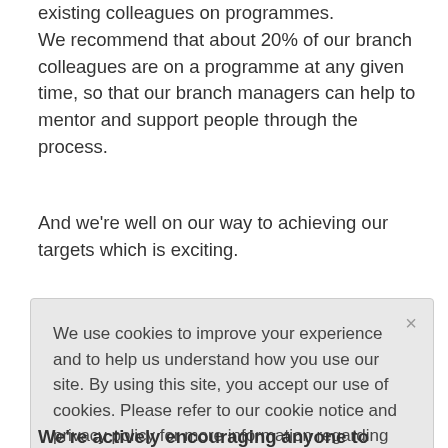existing colleagues on programmes. We recommend that about 20% of our branch colleagues are on a programme at any given time, so that our branch managers can help to mentor and support people through the process.
And we're well on our way to achieving our targets which is exciting.
We use cookies to improve your experience and to help us understand how you use our site. By using this site, you accept our use of cookies. Please refer to our cookie notice and privacy policy for more information regarding cookies and other third-party tracking that may be enabled.
We're actively encouraging anyone to engage with us